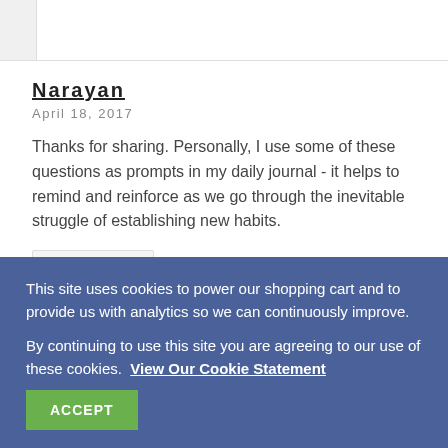Narayan
April 18, 2017
Thanks for sharing. Personally, I use some of these questions as prompts in my daily journal - it helps to remind and reinforce as we go through the inevitable struggle of establishing new habits.
This site uses cookies to power our shopping cart and to provide us with analytics so we can continuously improve.

By continuing to use this site you are agreeing to our use of these cookies. View Our Cookie Statement
ACCEPT